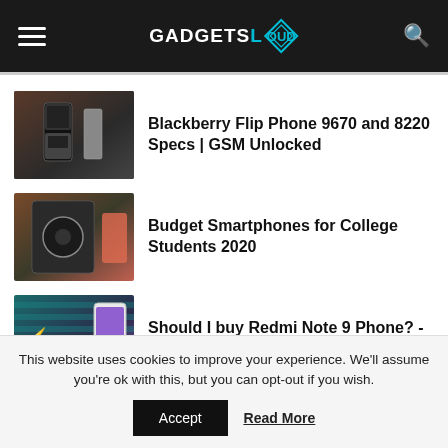GADGETSLOUD
[Figure (photo): Thumbnail image of Blackberry flip phone devices]
Blackberry Flip Phone 9670 and 8220 Specs | GSM Unlocked
[Figure (photo): Thumbnail image of a budget smartphone on colorful background]
Budget Smartphones for College Students 2020
[Figure (photo): Thumbnail image of Redmi Note 9 phone with OverPriced text overlay]
Should I buy Redmi Note 9 Phone?  - #UndisputedChampion
This website uses cookies to improve your experience. We'll assume you're ok with this, but you can opt-out if you wish.
Accept   Read More